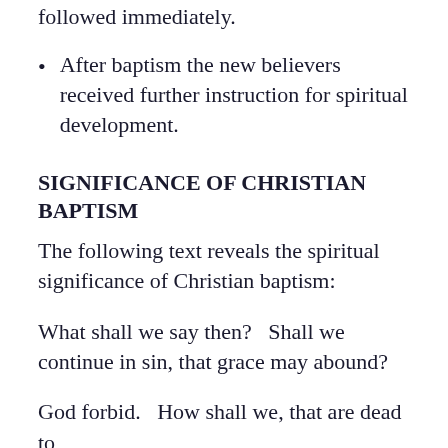followed immediately.
After baptism the new believers received further instruction for spiritual development.
SIGNIFICANCE OF CHRISTIAN BAPTISM
The following text reveals the spiritual significance of Christian baptism:
What shall we say then?   Shall we continue in sin, that grace may abound?
God forbid.   How shall we, that are dead to